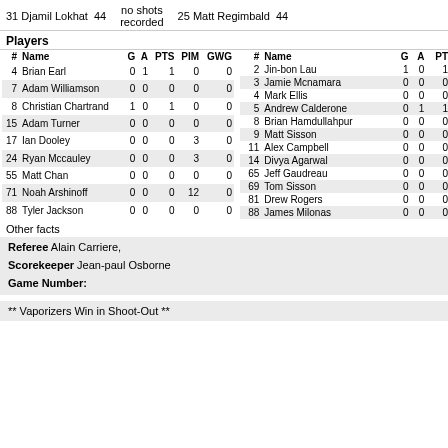31 Djamil Lokhat   44   no shots recorded   25 Matt Regimbald   44
Players
| # | Name | G | A | PTS | PIM | GWG | # | Name | G | A | PT |
| --- | --- | --- | --- | --- | --- | --- | --- | --- | --- | --- | --- |
| 4 | Brian Earl | 0 | 1 | 1 | 0 | 0 | 2 | Jin-bon Lau | 1 | 0 | 1 |
| 7 | Adam Williamson | 0 | 0 | 0 | 0 | 0 | 3 | Jamie Mcnamara | 0 | 0 | 0 |
| 8 | Christian Chartrand | 1 | 0 | 1 | 0 | 0 | 4 | Mark Ellis | 0 | 0 | 0 |
| 15 | Adam Turner | 0 | 0 | 0 | 0 | 0 | 5 | Andrew Calderone | 0 | 1 | 1 |
| 17 | Ian Dooley | 0 | 0 | 0 | 3 | 0 | 8 | Brian Hamdullahpur | 0 | 0 | 0 |
| 24 | Ryan Mccauley | 0 | 0 | 0 | 3 | 0 | 9 | Matt Sisson | 0 | 0 | 0 |
| 55 | Matt Chan | 0 | 0 | 0 | 0 | 0 | 11 | Alex Campbell | 0 | 0 | 0 |
| 71 | Noah Arshinoff | 0 | 0 | 0 | 12 | 0 | 14 | Divya Agarwal | 0 | 0 | 0 |
| 88 | Tyler Jackson | 0 | 0 | 0 | 0 | 0 | 65 | Jeff Gaudreau | 0 | 0 | 0 |
|  |  |  |  |  |  |  | 69 | Tom Sisson | 0 | 0 | 0 |
|  |  |  |  |  |  |  | 81 | Drew Rogers | 0 | 0 | 0 |
|  |  |  |  |  |  |  | 88 | James Milonas | 0 | 0 | 0 |
Other facts
Referee
Alain Carriere,
Scorekeeper
Jean-paul Osborne
Game Number:
** Vaporizers Win in Shoot-Out **